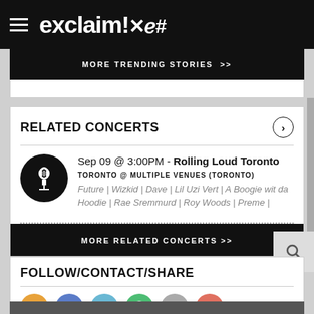exclaim!✕ℯ#
MORE TRENDING STORIES >>
RELATED CONCERTS
Sep 09 @ 3:00PM - Rolling Loud Toronto
TORONTO @ MULTIPLE VENUES (TORONTO)
Future | Wizkid | Dave | Lil Uzi Vert | A Boogie wit da Hoodie | Rae Sremmurd | Roy Woods | Preme |
MORE RELATED CONCERTS >>
FOLLOW/CONTACT/SHARE